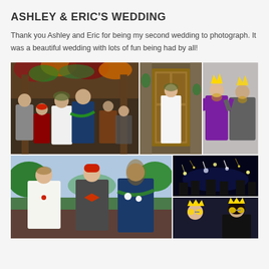ASHLEY & ERIC'S WEDDING
Thank you Ashley and Eric for being my second wedding to photograph. It was a beautiful wedding with lots of fun being had by all!
[Figure (photo): Wedding photo collage with 5 photos: top-left shows group of wedding party under floral arch, top-center shows bride standing in doorway in white dress, top-right shows two elderly guests with fun props/crowns, bottom-left shows bride and two groomsmen outdoors, bottom-right-top shows night scene with sparklers, bottom-right-bottom shows two women with star-shaped glasses and crown props.]